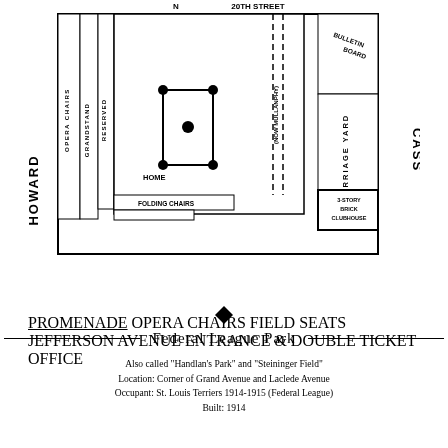[Figure (map): Stadium seating diagram of Federal League Park showing Howard Street on the left, Cass on the right, Jefferson Avenue at the bottom, and 20th Street at the top. Interior labels include Opera Chairs, Grandstand, Reserved, Folding Chairs, Promenade, Field Seats, Opera Chairs, Home plate, Bulletin Board, Carriage Yard, 3-Story Brick Clubhouse, Entrance & Double Ticket Office, and a dashed line labeled (Now Mullanphy).]
Federal League Park
Also called "Handlan's Park" and "Steininger Field"
Location: Corner of Grand Avenue and Laclede Avenue
Occupant: St. Louis Terriers 1914-1915 (Federal League)
Built: 1914